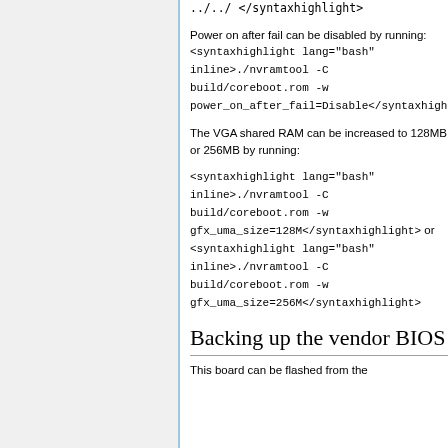../../ </syntaxhighlight>
Power on after fail can be disabled by running: <syntaxhighlight lang="bash" inline>./nvramtool -C build/coreboot.rom -w power_on_after_fail=Disable</syntaxhighlight>
The VGA shared RAM can be increased to 128MB or 256MB by running:
<syntaxhighlight lang="bash" inline>./nvramtool -C build/coreboot.rom -w gfx_uma_size=128M</syntaxhighlight> or <syntaxhighlight lang="bash" inline>./nvramtool -C build/coreboot.rom -w gfx_uma_size=256M</syntaxhighlight>
Backing up the vendor BIOS
This board can be flashed from the